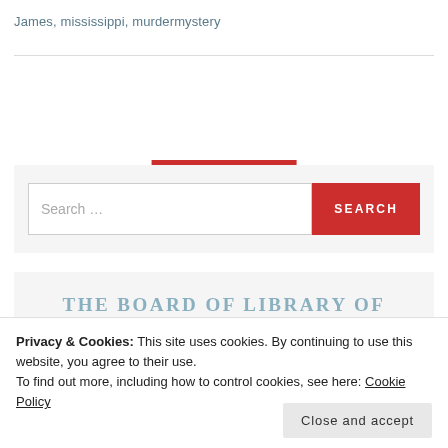James, mississippi, murdermystery
OLDER POSTS
Search ...
SEARCH
THE BOARD OF LIBRARY OF
TOBI, CHAIRCAT OF THE BOARD
Privacy & Cookies: This site uses cookies. By continuing to use this website, you agree to their use.
To find out more, including how to control cookies, see here: Cookie Policy
Close and accept